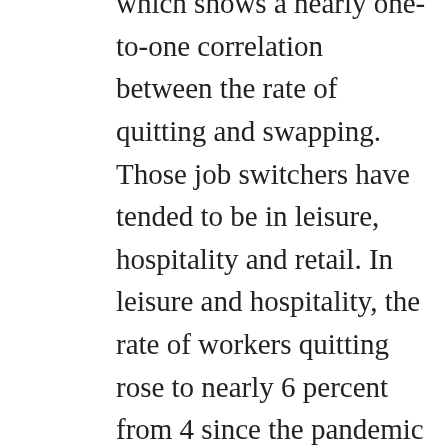which shows a nearly one-to-one correlation between the rate of quitting and swapping. Those job switchers have tended to be in leisure, hospitality and retail. In leisure and hospitality, the rate of workers quitting rose to nearly 6 percent from 4 since the pandemic began; in retail it jumped to nearly 5 percent from 3.5. White collar employers still struggled to hire, but they saw far fewer resignations. The quitting rate in finance, for example, declined at the start of the pandemic and is now just below 2 percent, and in media and technology it stayed roughly consistent, also below 2 percent.